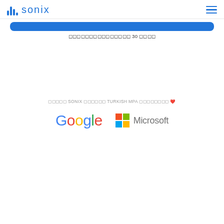sonix
[Figure (logo): Blue bar-chart style icon with the word 'sonix' in blue beside it, and a hamburger menu icon on the right]
[Figure (other): Blue rounded rectangle button/bar]
⬜⬜⬜⬜⬜⬜⬜⬜⬜⬜⬜⬜⬜⬜⬜ 30 ⬜⬜⬜⬜
⬜⬜⬜⬜⬜ SONIX ⬜⬜⬜⬜⬜⬜ TURKISH MPA ⬜⬜⬜⬜⬜⬜⬜⬜ ❤️
[Figure (logo): Google logo in multicolor and Microsoft logo in multicolor side by side]